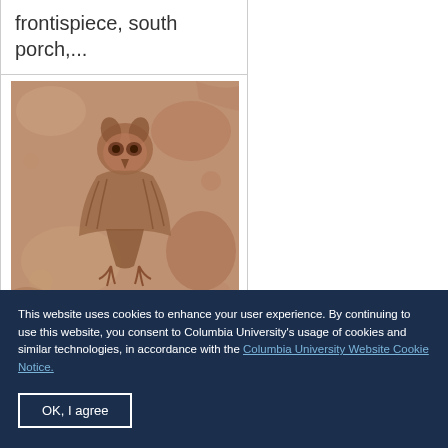frontispiece, south porch,...
[Figure (photo): Stone carving or bas-relief sculpture showing a figure, possibly an owl or animal form, carved into rough stone, rendered in warm brownish-pink tones]
This website uses cookies to enhance your user experience. By continuing to use this website, you consent to Columbia University's usage of cookies and similar technologies, in accordance with the Columbia University Website Cookie Notice.
OK, I agree